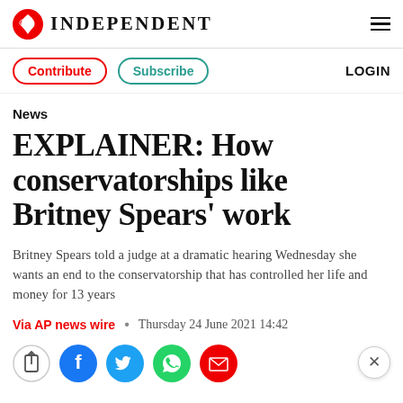INDEPENDENT
Contribute  Subscribe  LOGIN
News
EXPLAINER: How conservatorships like Britney Spears' work
Britney Spears told a judge at a dramatic hearing Wednesday she wants an end to the conservatorship that has controlled her life and money for 13 years
Via AP news wire  •  Thursday 24 June 2021 14:42